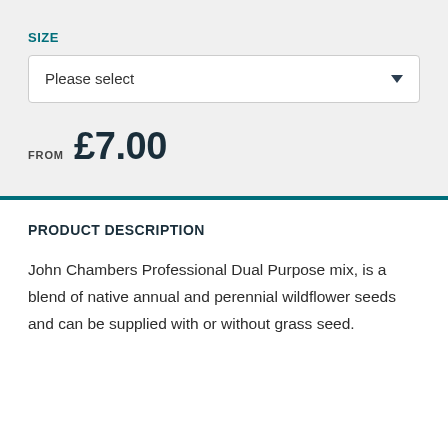SIZE
Please select
FROM £7.00
PRODUCT DESCRIPTION
John Chambers Professional Dual Purpose mix, is a blend of native annual and perennial wildflower seeds and can be supplied with or without grass seed.